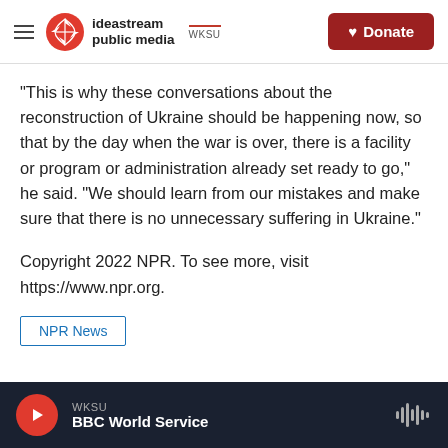ideastream public media WKSU | Donate
"This is why these conversations about the reconstruction of Ukraine should be happening now, so that by the day when the war is over, there is a facility or program or administration already set ready to go," he said. "We should learn from our mistakes and make sure that there is no unnecessary suffering in Ukraine."
Copyright 2022 NPR. To see more, visit https://www.npr.org.
NPR News
WKSU | BBC World Service